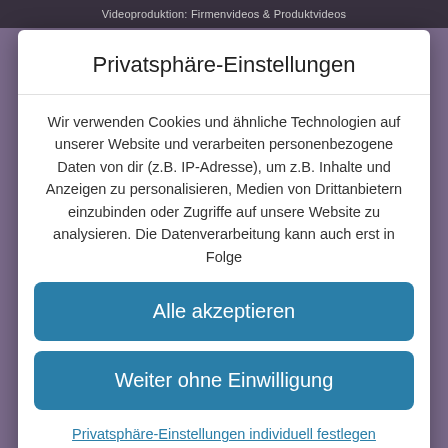Videoproduktion: Firmenvideos & Produktvideos
Privatsphäre-Einstellungen
Wir verwenden Cookies und ähnliche Technologien auf unserer Website und verarbeiten personenbezogene Daten von dir (z.B. IP-Adresse), um z.B. Inhalte und Anzeigen zu personalisieren, Medien von Drittanbietern einzubinden oder Zugriffe auf unsere Website zu analysieren. Die Datenverarbeitung kann auch erst in Folge
Alle akzeptieren
Weiter ohne Einwilligung
Privatsphäre-Einstellungen individuell festlegen
Datenschutzerklärung • Impressum WordPress Cookie Hinweis von Real Cookie Banner